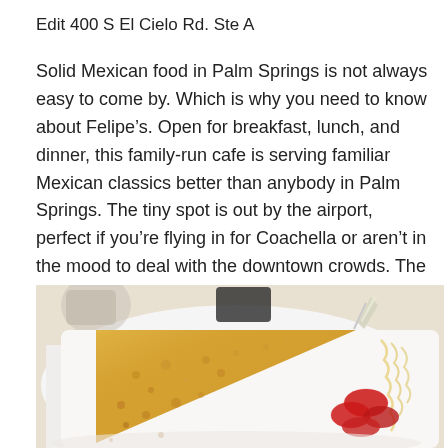Edit 400 S El Cielo Rd. Ste A
Solid Mexican food in Palm Springs is not always easy to come by. Which is why you need to know about Felipe’s. Open for breakfast, lunch, and dinner, this family-run cafe is serving familiar Mexican classics better than anybody in Palm Springs. The tiny spot is out by the airport, perfect if you’re flying in for Coachella or aren’t in the mood to deal with the downtown crowds. The Hawaiian torta is a must.
[Figure (photo): A plate with a triangular wedge of golden-brown French toast or cornbread with a metallic foil toothpick on top, drizzled with syrup, alongside a small garnish of sliced strawberries on a white plate.]